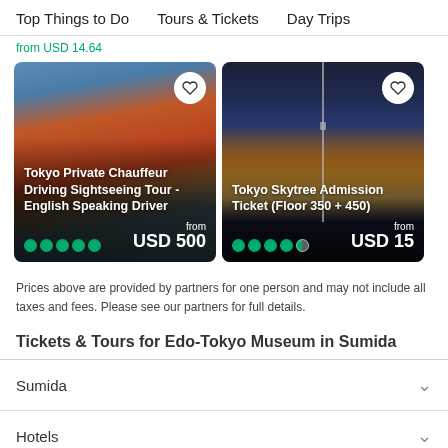Top Things to Do   Tours & Tickets   Day Trips
from USD 14.64
[Figure (photo): Tokyo Private Chauffeur Driving Sightseeing Tour - English Speaking Driver. Rating: 5 dots green. Price from USD 500.]
[Figure (photo): Tokyo Skytree Admission Ticket (Floor 350 + 450). Rating: 4.5 dots green. Price from USD 15.]
Prices above are provided by partners for one person and may not include all taxes and fees. Please see our partners for full details.
Tickets & Tours for Edo-Tokyo Museum in Sumida
Sumida
Hotels